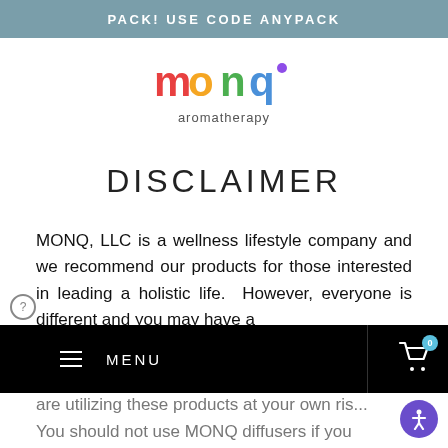PACK! USE CODE ANYPACK
[Figure (logo): MONQ aromatherapy rainbow logo with colored letters m-o-n-q and subtitle 'aromatherapy']
DISCLAIMER
MONQ, LLC is a wellness lifestyle company and we recommend our products for those interested in leading a holistic life.  However, everyone is different and you may have a
are utilizing these products at your own ris... You should not use MONQ diffusers if you